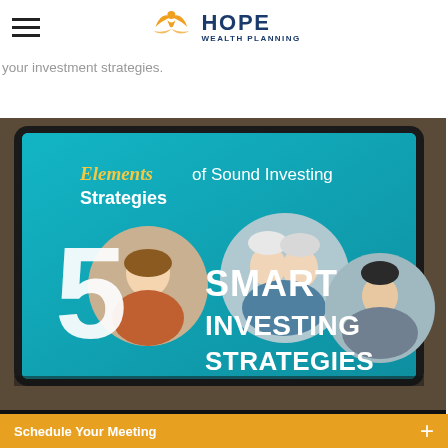HOPE WEALTH PLANNING
your investment strategies.
[Figure (screenshot): A tablet device displaying a slideshow cover titled 'Elements of Sound Investing Strategies' with text '5 SMART INVESTING STRATEGIES' on a teal background, with circular photos of people.]
START SLIDESHOW
Schedule Your Meeting